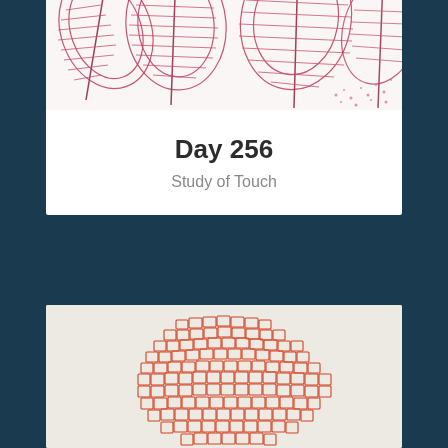[Figure (illustration): Pink and red pen/marker drawing of leaf-like or organic flowing shapes with hatching and stippling on white background, cropped at top of card]
Day 256
Study of Touch
[Figure (illustration): Orange-red crayon or marker drawing of a dense mosaic/cellular texture forming a rounded mound shape on light grey/beige background]